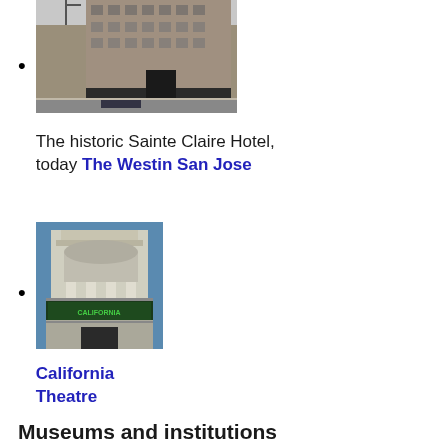[Figure (photo): Street-level photo of the historic Sainte Claire Hotel building, a large multi-story building with ornate architecture]
The historic Sainte Claire Hotel, today The Westin San Jose
[Figure (photo): Photo of the California Theatre facade showing Art Deco architecture with green marquee sign]
California Theatre
Museums and institutions